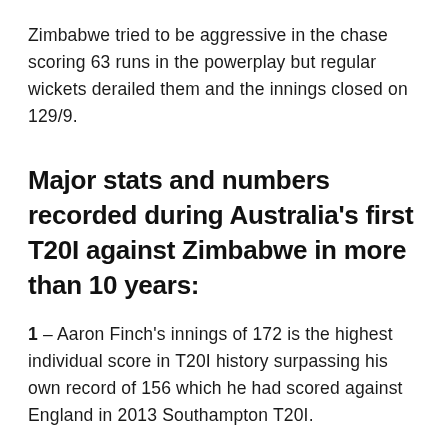Zimbabwe tried to be aggressive in the chase scoring 63 runs in the powerplay but regular wickets derailed them and the innings closed on 129/9.
Major stats and numbers recorded during Australia's first T20I against Zimbabwe in more than 10 years:
1 – Aaron Finch's innings of 172 is the highest individual score in T20I history surpassing his own record of 156 which he had scored against England in 2013 Southampton T20I.